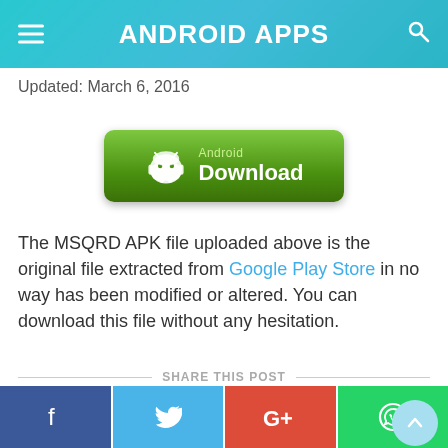ANDROID APPS
Updated: March 6, 2016
[Figure (other): Green Android Download button with robot icon, text 'Android Download']
The MSQRD APK file uploaded above is the original file extracted from Google Play Store in no way has been modified or altered. You can download this file without any hesitation.
SHARE THIS POST
[Figure (other): Social media sharing bar with Facebook, Twitter, Google+, and WhatsApp buttons]
RELATED POSTS